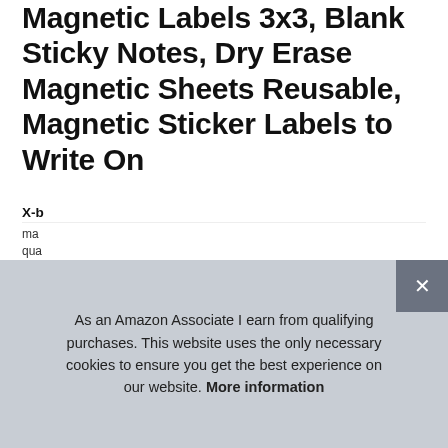Magnetic Labels 3x3, Blank Sticky Notes, Dry Erase Magnetic Sheets Reusable, Magnetic Sticker Labels to Write On
#ad
[Figure (other): Four product thumbnail images showing: 1) 2-Layer Structure for Long-Term Use, 2) Convenient Features with Marker Included badge, 3) Water Resistant with hand holding label, 4) Ideal for Education with children]
X-b...
ma...
qua...
As an Amazon Associate I earn from qualifying purchases. This website uses the only necessary cookies to ensure you get the best experience on our website. More information